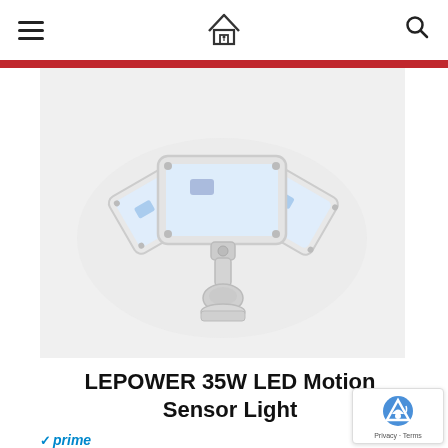hamburger menu | house logo | search icon
[Figure (photo): White LEPOWER 35W LED motion sensor security light with three adjustable lamp heads and PIR motion sensor, photographed against white background]
LEPOWER 35W LED Motion Sensor Light
prime